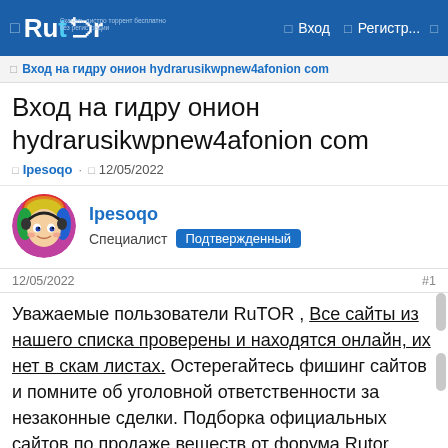Rutor — Вход | Регистр...
Вход на гидру онион hydrarusikwpnew4afonion com
Вход на гидру онион hydrarusikwpnew4afonion com
Ipesoqo · 12/05/2022
[Figure (illustration): User avatar: animated character with rainbow hair and headphones]
Ipesoqo
Специалист Подтвержденный
12/05/2022  #1
Уважаемые пользователи RuTOR , Все сайты из нашего списка проверены и находятся онлайн, их нет в скам листах. Остерегайтесь фишинг сайтов и помните об уголовной ответственности за незаконные сделки. Подборка официальных сайтов по продаже веществ от форума Rutor